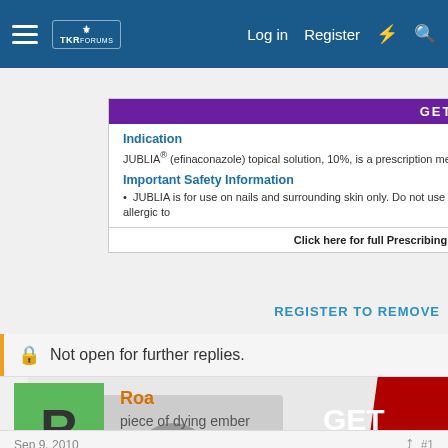Navigation bar with menu, logo, Log in, Register links and search icon
[Figure (screenshot): JUBLIA advertisement: Indication and Important Safety Information panel with purple header and link to Prescribing Information]
[Figure (screenshot): GET DOWN WITH YOUR BLOOD PRESSURE advertisement in partnership with Office of Minority Health]
REGISTER TO REMOVE
Not open for further replies.
Roa
piece of dying ember
Sep 9, 2010   #1